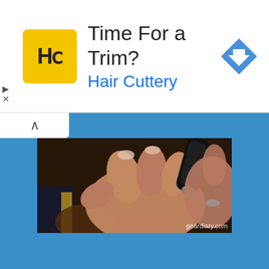[Figure (screenshot): Advertisement banner for Hair Cuttery with yellow HC logo, title 'Time For a Trim?' and blue 'Hair Cuttery' subtitle, with a blue diamond navigation arrow on the right]
[Figure (photo): Close-up photo of hands holding a small electronic device, with 'geardiary.com' watermark in bottom right corner]